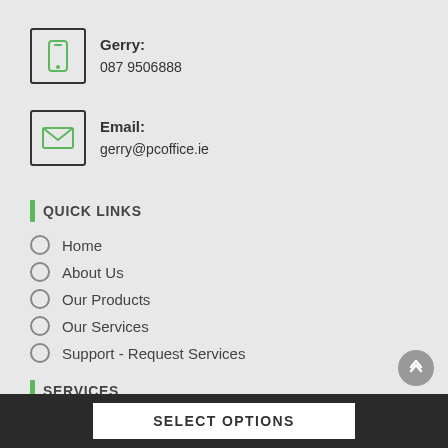Gerry:
087 9506888
Email:
gerry@pcoffice.ie
QUICK LINKS
Home
About Us
Our Products
Our Services
Support - Request Services
SERVICES
Tablet de...
SELECT OPTIONS